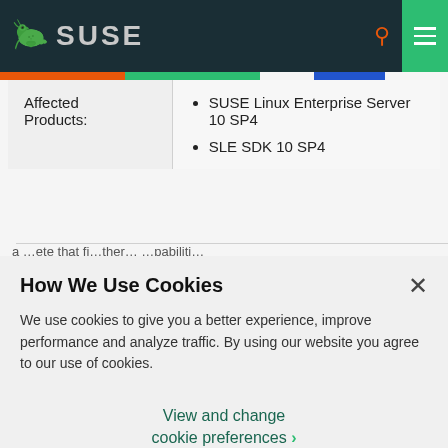SUSE
| Affected Products: | Products |
| --- | --- |
| Affected Products: | SUSE Linux Enterprise Server 10 SP4
SLE SDK 10 SP4 |
How We Use Cookies
We use cookies to give you a better experience, improve performance and analyze traffic. By using our website you agree to our use of cookies.
View and change cookie preferences ›